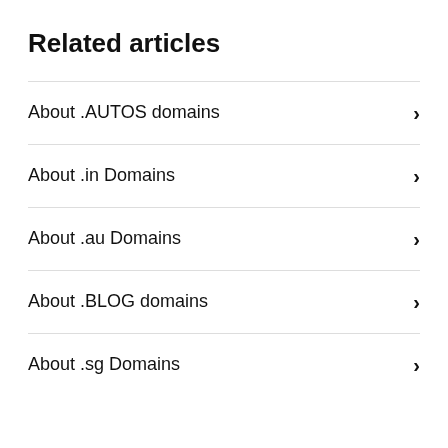Related articles
About .AUTOS domains
About .in Domains
About .au Domains
About .BLOG domains
About .sg Domains